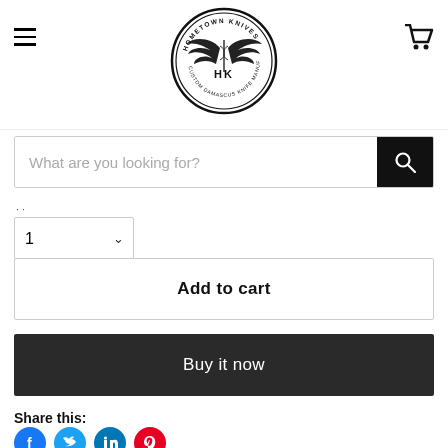[Figure (logo): Hometown Knives circular logo with wings and HK emblem, text reading HOMETOWN KNIVES CUSTOM DAMASCUS KNIFE MANUFACTURER]
What are you looking for?
1
Add to cart
Buy it now
Share this:
[Figure (infographic): Social sharing icons: Facebook (blue), Twitter (light blue), LinkedIn (dark blue), Pinterest (red)]